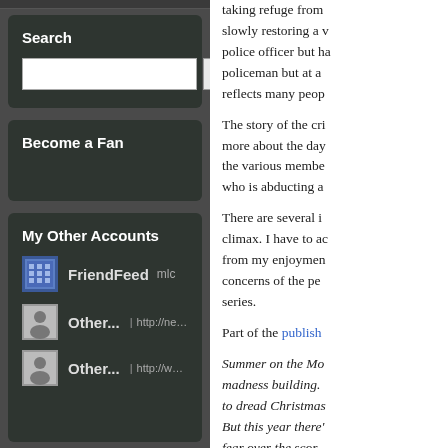Search
Become a Fan
My Other Accounts
FriendFeed | mlc
Other... http://network.nature.com/people/maxine/pro
Other... http://www.blogger.com/profile/066285093195
taking refuge from slowly restoring a village police officer but ha policeman but at a reflects many peop
The story of the cri more about the day the various membe who is abducting a
There are several i climax. I have to ac from my enjoymen concerns of the pe series.
Part of the publish
Summer on the Mo madness building. to dread Christmas But this year there' fear over the scor